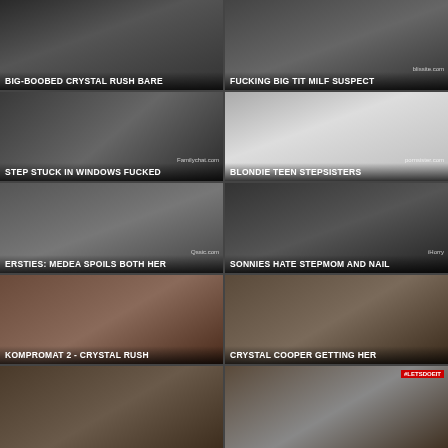[Figure (screenshot): Video thumbnail 1: BIG-BOOBED CRYSTAL RUSH BARE]
[Figure (screenshot): Video thumbnail 2: FUCKING BIG TIT MILF SUSPECT]
[Figure (screenshot): Video thumbnail 3: STEP STUCK IN WINDOWS FUCKED]
[Figure (screenshot): Video thumbnail 4: BLONDIE TEEN STEPSISTERS]
[Figure (screenshot): Video thumbnail 5: ERSTIES: MEDEA SPOILS BOTH HER]
[Figure (screenshot): Video thumbnail 6: SONNIES HATE STEPMOM AND NAIL]
[Figure (screenshot): Video thumbnail 7: KOMPROMAT 2 - CRYSTAL RUSH]
[Figure (screenshot): Video thumbnail 8: CRYSTAL COOPER GETTING HER]
[Figure (screenshot): Video thumbnail 9: (partial, bottom left)]
[Figure (screenshot): Video thumbnail 10: (partial, bottom right) #LETSDOEIT]